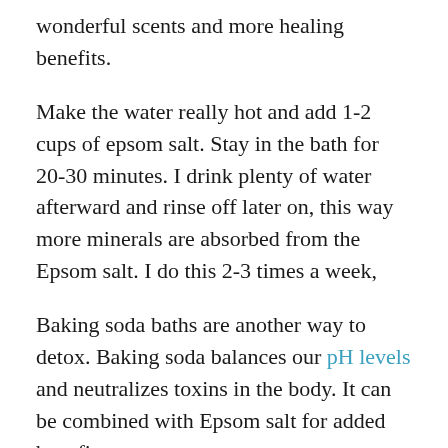wonderful scents and more healing benefits.
Make the water really hot and add 1-2 cups of epsom salt. Stay in the bath for 20-30 minutes. I drink plenty of water afterward and rinse off later on, this way more minerals are absorbed from the Epsom salt. I do this 2-3 times a week,
Baking soda baths are another way to detox. Baking soda balances our pH levels and neutralizes toxins in the body. It can be combined with Epsom salt for added benefit.
Clay baths are yet another way to detox. Clay is once in a load and a bit is a bl...